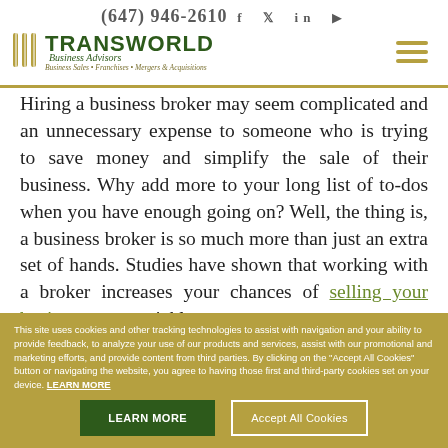(647) 946-2610  Transworld Business Advisors — Business Sales • Franchises • Mergers & Acquisitions
Hiring a business broker may seem complicated and an unnecessary expense to someone who is trying to save money and simplify the sale of their business. Why add more to your long list of to-dos when you have enough going on? Well, the thing is, a business broker is so much more than just an extra set of hands. Studies have shown that working with a broker increases your chances of selling your business more quickly, at a
This site uses cookies and other tracking technologies to assist with navigation and your ability to provide feedback, to analyze your use of our products and services, assist with our promotional and marketing efforts, and provide content from third parties. By clicking on the "Accept All Cookies" button or navigating the website, you agree to having those first and third-party cookies set on your device. LEARN MORE